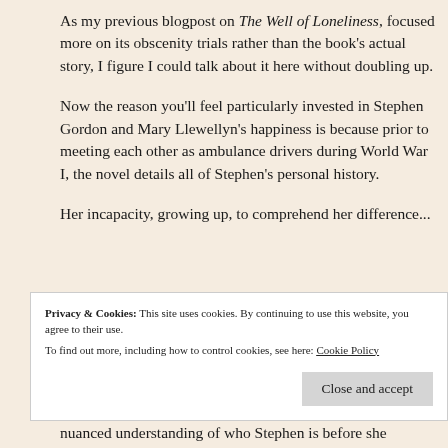As my previous blogpost on The Well of Loneliness, focused more on its obscenity trials rather than the book's actual story, I figure I could talk about it here without doubling up.
Now the reason you'll feel particularly invested in Stephen Gordon and Mary Llewellyn's happiness is because prior to meeting each other as ambulance drivers during World War I, the novel details all of Stephen's personal history.
Her incapacity, growing up, to comprehend her difference, and a gradual realisation as a nuanced understanding of who Stephen is before she
Privacy & Cookies: This site uses cookies. By continuing to use this website, you agree to their use.
To find out more, including how to control cookies, see here: Cookie Policy